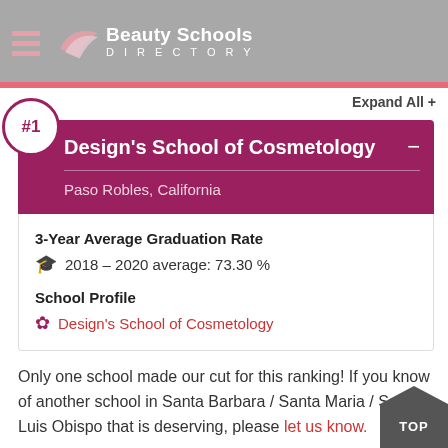Beauty Schools Directory
#1 Design's School of Cosmetology — Paso Robles, California
3-Year Average Graduation Rate
2018 – 2020 average: 73.30 %
School Profile
Design's School of Cosmetology
Only one school made our cut for this ranking! If you know of another school in Santa Barbara / Santa Maria / San Luis Obispo that is deserving, please let us know.